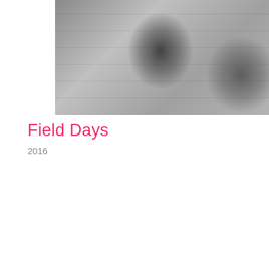[Figure (photo): Black and white photograph of a concrete wall with horizontal board markings and dark scorch or spray paint marks. A pillar or column is visible on the left side.]
Field Days
2016
[Figure (photo): Color photograph of a person lying face-down in green grass, wearing a plaid flannel shirt in earth tones (rust/red/tan) and sunglasses, with brown hair in a bun. Other people are visible lying in the background.]